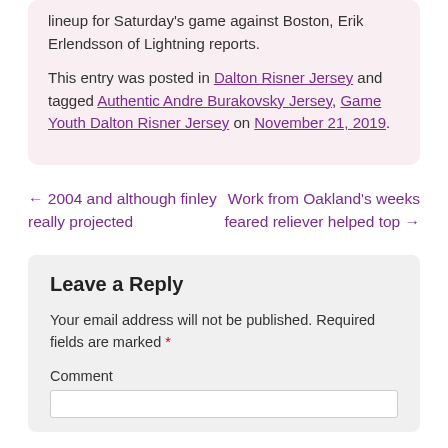lineup for Saturday's game against Boston, Erik Erlendsson of Lightning reports.
This entry was posted in Dalton Risner Jersey and tagged Authentic Andre Burakovsky Jersey, Game Youth Dalton Risner Jersey on November 21, 2019.
← 2004 and although finley really projected
Work from Oakland's weeks feared reliever helped top →
Leave a Reply
Your email address will not be published. Required fields are marked *
Comment